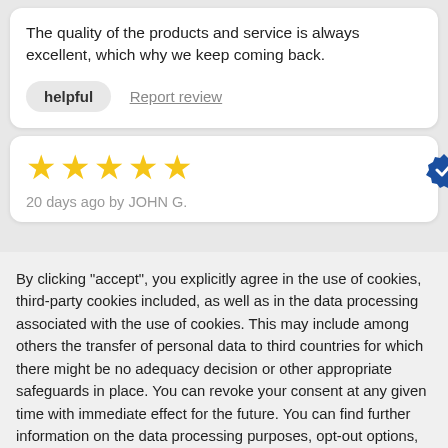The quality of the products and service is always excellent, which why we keep coming back.
helpful    Report review
[Figure (other): Five yellow star rating with a blue verified badge icon]
20 days ago by JOHN G.
By clicking "accept", you explicitly agree in the use of cookies, third-party cookies included, as well as in the data processing associated with the use of cookies. This may include among others the transfer of personal data to third countries for which there might be no adequacy decision or other appropriate safeguards in place. You can revoke your consent at any given time with immediate effect for the future. You can find further information on the data processing purposes, opt-out options, your rights, and the risks of data transfers to third countries here.
ACCEPT